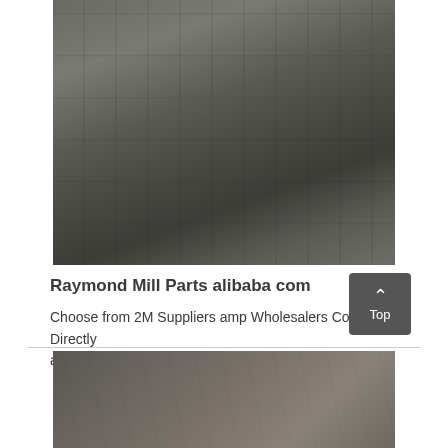[Figure (photo): Industrial Raymond mill machinery with steel frame structure, platforms, staircases, and mechanical components in a factory setting, viewed from an angle showing the full vertical extent of the equipment.]
Raymond Mill Parts alibaba com
Choose from 2M Suppliers amp Wholesalers Contact Directly amp Get Quotes
[Figure (photo): Partial view of another industrial mill or crushing equipment photographed outdoors or in a facility, showing machinery components and structural elements.]